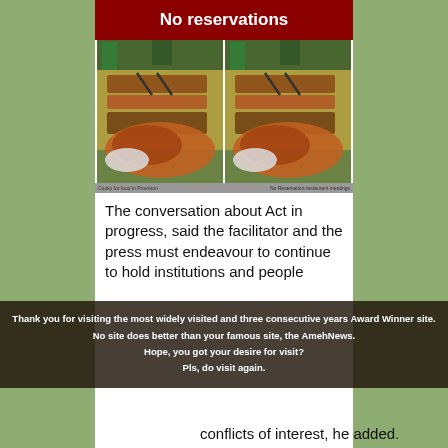No reservations
[Figure (photo): Two side-by-side photos of a buffet food spread with multiple trays of food on a table, tongs visible, people in background]
Cooky for food in Provision | No Reservation restaurant meetings
The conversation about Act in progress, said the facilitator and the press must endeavour to continue to hold institutions and people
Thank you for visiting the most widely visited and three consecutive years Award Winner site. No site does better than your famous site, the AmehNews. Hope, you got your desire for visit? Pls, do visit again.
conflicts of interest, he added.